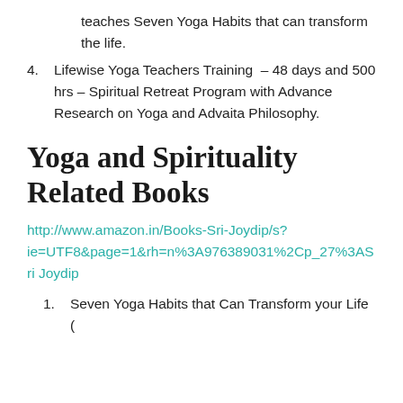teaches Seven Yoga Habits that can transform the life.
4. Lifewise Yoga Teachers Training – 48 days and 500 hrs – Spiritual Retreat Program with Advance Research on Yoga and Advaita Philosophy.
Yoga and Spirituality Related Books
http://www.amazon.in/Books-Sri-Joydip/s?ie=UTF8&page=1&rh=n%3A976389031%2Cp_27%3ASri Joydip
1. Seven Yoga Habits that Can Transform your Life (